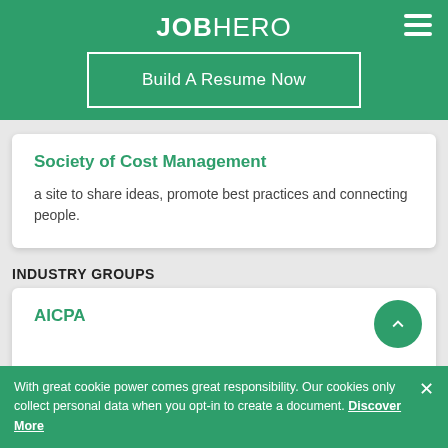JOBHERO
Build A Resume Now
Society of Cost Management
a site to share ideas, promote best practices and connecting people.
INDUSTRY GROUPS
AICPA
With great cookie power comes great responsibility. Our cookies only collect personal data when you opt-in to create a document. Discover More